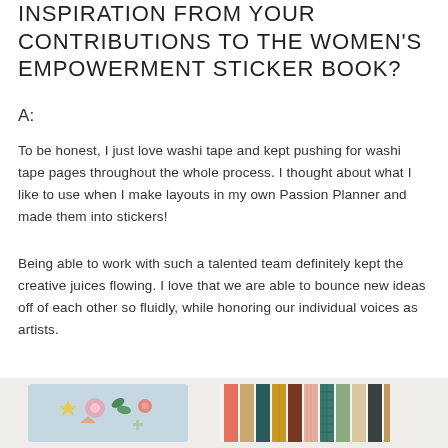INSPIRATION FROM YOUR CONTRIBUTIONS TO THE WOMEN'S EMPOWERMENT STICKER BOOK?
A:
To be honest, I just love washi tape and kept pushing for washi tape pages throughout the whole process. I thought about what I like to use when I make layouts in my own Passion Planner and made them into stickers!
Being able to work with such a talented team definitely kept the creative juices flowing. I love that we are able to bounce new ideas off of each other so fluidly, while honoring our individual voices as artists.
[Figure (photo): Bottom portion of a photo showing two sticker sheets — one light blue with decorative stickers (flowers, leaves, geometric shapes) and one with colorful washi tape strips in various patterns and colors including pink, tan, dark teal, mustard, and patterned designs.]